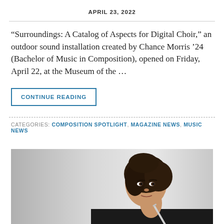APRIL 23, 2022
“Surroundings: A Catalog of Aspects for Digital Choir,” an outdoor sound installation created by Chance Morris ’24 (Bachelor of Music in Composition), opened on Friday, April 22, at the Museum of the …
CONTINUE READING
CATEGORIES: COMPOSITION SPOTLIGHT, MAGAZINE NEWS, MUSIC NEWS
[Figure (photo): Professional portrait photo of a young woman with dark hair pulled up, holding a flute, wearing a dark jacket, photographed against a grey gradient background.]